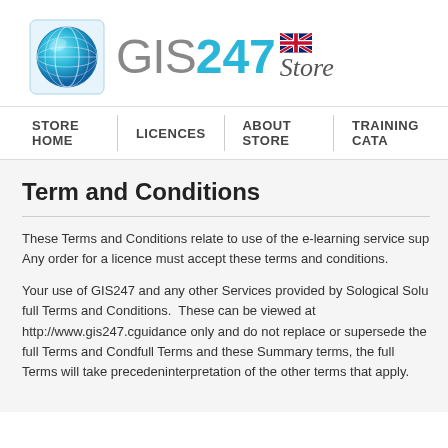[Figure (logo): GIS247 Store logo with globe icon and UK flag]
STORE HOME | LICENCES | ABOUT STORE | TRAINING CATA
Term and Conditions
These Terms and Conditions relate to use of the e-learning service sup... Any order for a licence must accept these terms and conditions.
Your use of GIS247 and any other Services provided by Sological Solu... full Terms and Conditions.  These can be viewed at http://www.gis247.c... guidance only and do not replace or supersede the full Terms and Con... full Terms and these Summary terms, the full Terms will take preceden... interpretation of the other terms that apply.